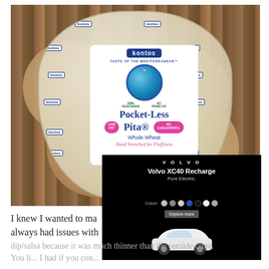[Figure (photo): A bag of Kontos Pocket-Less Pita Whole Wheat bread on a wooden cutting board background. The packaging is clear plastic with the Kontos brand repeated around it, and a central label showing the globe logo, 'Pocket-Less Pita' in blue, 'Whole Wheat', 'Low Fat' and 'No Cholesterol' pink badges, and 'Hand Stretched for Fluffiness' in pink italic text at the bottom.]
[Figure (other): A black advertisement overlay showing the Volvo XC40 Recharge 'Pure Electric' ad with the Volvo logo at top, model name, color selector dots, a white SUV car image, and a button.]
I knew I wanted to ma... always had issues with...
dip/salsa because it was much thinner than the outside crust. You li... I had if you con...